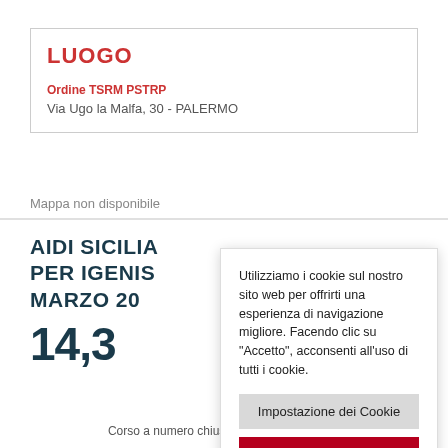LUOGO
Ordine TSRM PSTRP
Via Ugo la Malfa, 30 - PALERMO
Mappa non disponibile
AIDI SICILIA PER IGENIS MARZO 20
14,3
Utilizziamo i cookie sul nostro sito web per offrirti una esperienza di navigazione migliore. Facendo clic su "Accetto", acconsenti all'uso di tutti i cookie.
Impostazione dei Cookie
ACCETTO
Corso a numero chiuso max 25 partecipanti